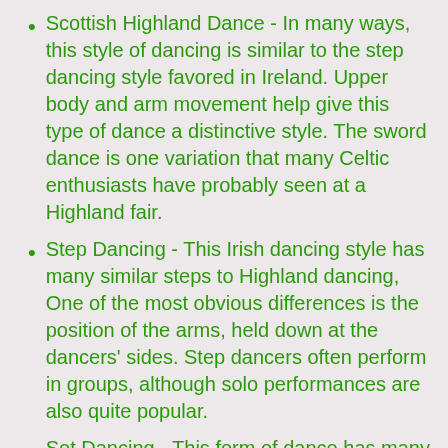Scottish Highland Dance - In many ways, this style of dancing is similar to the step dancing style favored in Ireland. Upper body and arm movement help give this type of dance a distinctive style. The sword dance is one variation that many Celtic enthusiasts have probably seen at a Highland fair.
Step Dancing - This Irish dancing style has many similar steps to Highland dancing, One of the most obvious differences is the position of the arms, held down at the dancers' sides. Step dancers often perform in groups, although solo performances are also quite popular.
Set Dancing - This form of dance has many similarities to French